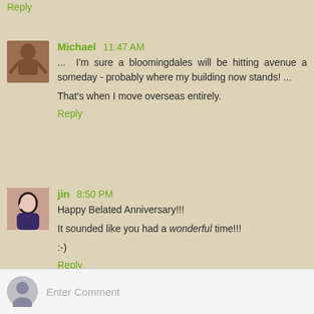Reply
Michael 11:47 AM
... I'm sure a bloomingdales will be hitting avenue a someday - probably where my building now stands! ...
That's when I move overseas entirely.
Reply
jin 8:50 PM
Happy Belated Anniversary!!!
It sounded like you had a wonderful time!!!
:-)
Reply
Enter Comment